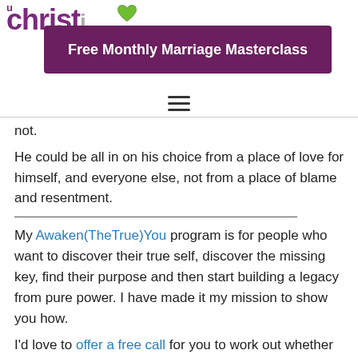Free Monthly Marriage Masterclass
not.
He could be all in on his choice from a place of love for himself, and everyone else, not from a place of blame and resentment.
My Awaken(TheTrue)You program is for people who want to discover their true self, discover the missing key, find their purpose and then start building a legacy from pure power. I have made it my mission to show you how.
I'd love to offer a free call for you to work out whether or not my program and life changing promise is a fit for you. Either book your call now or send me an